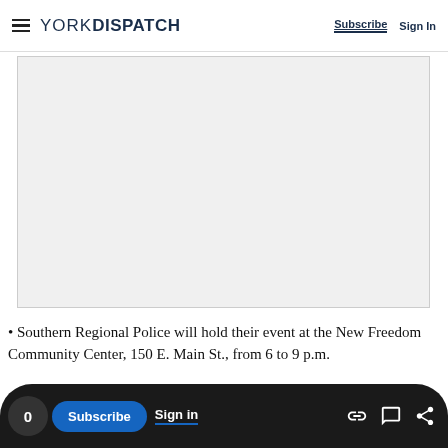YORK DISPATCH | Subscribe  Sign In
[Figure (other): Advertisement placeholder box (light gray rectangle)]
• Southern Regional Police will hold their event at the New Freedom Community Center, 150 E. Main St., from 6 to 9 p.m.
• Southwestern Regional Police will host their